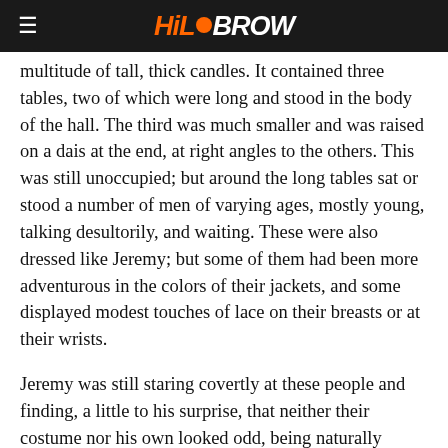HiloBrow
multitude of tall, thick candles. It contained three tables, two of which were long and stood in the body of the hall. The third was much smaller and was raised on a dais at the end, at right angles to the others. This was still unoccupied; but around the long tables sat or stood a number of men of varying ages, mostly young, talking desultorily, and waiting. These were also dressed like Jeremy; but some of them had been more adventurous in the colors of their jackets, and some displayed modest touches of lace on their breasts or at their wrists.
Jeremy was still staring covertly at these people and finding, a little to his surprise, that neither their costume nor his own looked odd, being naturally worn, when a trumpet rang out metallically, and at once all the lounging men sprang to their feet in rigid attitudes. A door on the dais was thrown open